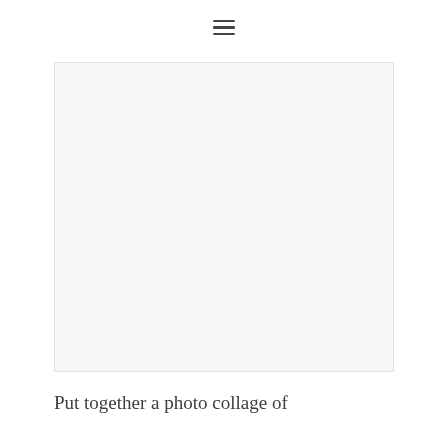≡
[Figure (photo): Large light gray/off-white rectangular image placeholder area]
Put together a photo collage of